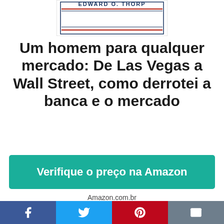[Figure (illustration): Book cover partial view showing author name EDWARD O. THORP with red and blue decorative lines on white background]
Um homem para qualquer mercado: De Las Vegas a Wall Street, como derrotei a banca e o mercado
Verifique o preço na Amazon
Amazon.com.br
Features
|  |  |
| --- | --- |
| Part Number | uocl08iaab-5890 |
Facebook | Twitter | Pinterest | Email